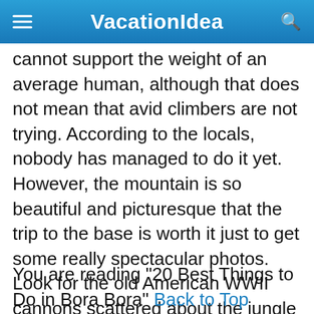VacationIdea
cannot support the weight of an average human, although that does not mean that avid climbers are not trying. According to the locals, nobody has managed to do it yet. However, the mountain is so beautiful and picturesque that the trip to the base is worth it just to get some really spectacular photos. Look for the old American WWII cannons scattered about the jungle as well as some ancient local altars.
You are reading "20 Best Things to Do in Bora Bora" Back to Top